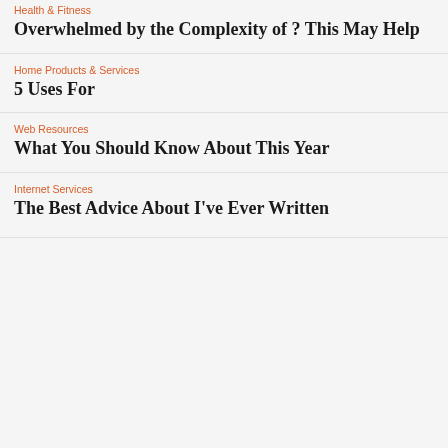Health & Fitness
Overwhelmed by the Complexity of ? This May Help
Home Products & Services
5 Uses For
Web Resources
What You Should Know About This Year
Internet Services
The Best Advice About I've Ever Written